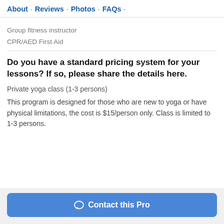About · Reviews · Photos · FAQs ·
Group fitness instructor
CPR/AED First Aid
Do you have a standard pricing system for your lessons? If so, please share the details here.
Private yoga class (1-3 persons)
This program is designed for those who are new to yoga or have physical limitations, the cost is $15/person only. Class is limited to 1-3 persons.
Contact this Pro